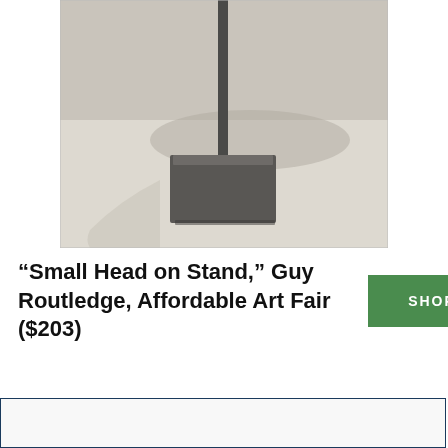[Figure (photo): Close-up photo of a sculpture base — a square gray concrete or metal pedestal with a narrow vertical rod/pole rising from its center. The sculpture casts a shadow on a light gray surface in the background.]
“Small Head on Stand,” Guy Routledge, Affordable Art Fair ($203)